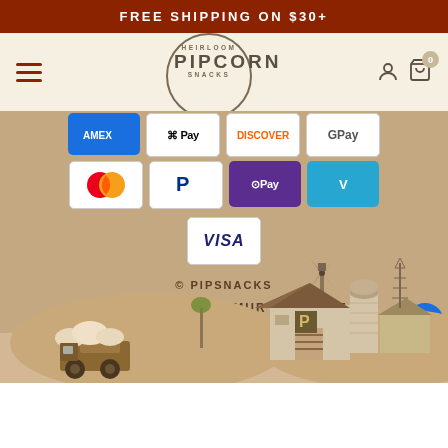FREE SHIPPING ON $30+
[Figure (logo): Pipcorn Heirloom Snacks circular logo with PIPCORN text]
[Figure (screenshot): Payment method icons: Apple Pay, Mastercard, PayPal, ShopPay, Venmo, Visa]
© PIPSNACKS
WEBSITE BY MURMUR CREATIVE
[Figure (illustration): Farm scene illustration with barn, silo, windmill, and tractor with popcorn]